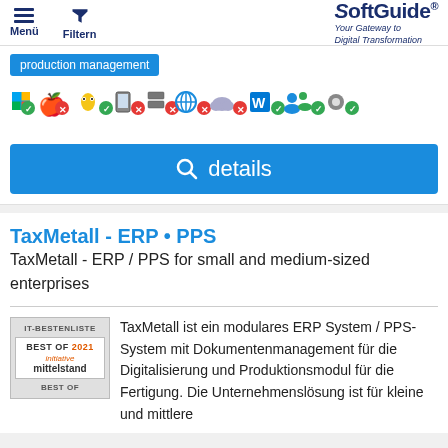Menü  Filtern  SoftGuide® Your Gateway to Digital Transformation
production management
[Figure (infographic): Row of OS and platform compatibility icons: Windows (check), Apple (cross), Linux (check), Mobile (cross), Server (cross), Globe (cross), Cloud (cross), Office/Azure (check), Users (check), Settings (check)]
details
TaxMetall - ERP • PPS
TaxMetall - ERP / PPS for small and medium-sized enterprises
[Figure (logo): IT-Bestenliste Best of 2021 initiative mittelstand BEST OF badge]
TaxMetall ist ein modulares ERP System / PPS-System mit Dokumentenmanagement für die Digitalisierung und Produktionsmodul für die Fertigung. Die Unternehmenslösung ist für kleine und mittlere